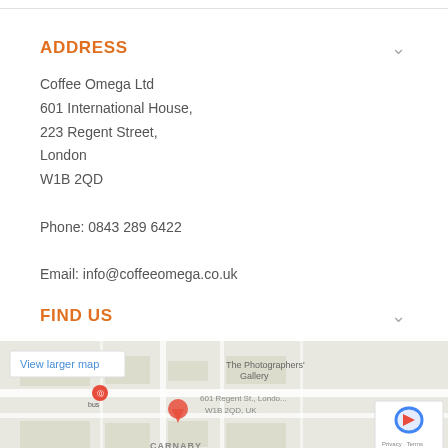ADDRESS
Coffee Omega Ltd
601 International House,
223 Regent Street,
London
W1B 2QD
Phone: 0843 289 6422
Email: info@coffeeomega.co.uk
FIND US
[Figure (map): Google Maps embed showing 601 Regent St., London W1B 2QD, UK near The Photographers' Gallery and Carnaby area. Includes a 'View larger map' button and Google reCAPTCHA badge with Privacy and Terms links.]